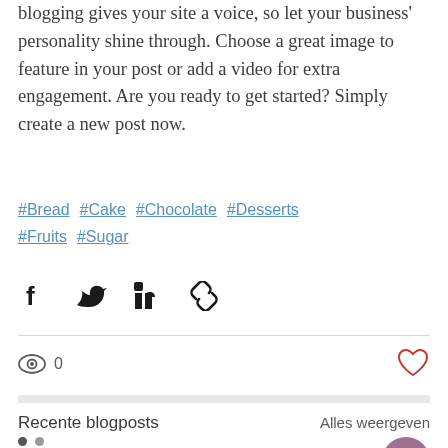blogging gives your site a voice, so let your business' personality shine through. Choose a great image to feature in your post or add a video for extra engagement. Are you ready to get started? Simply create a new post now.
#Bread #Cake #Chocolate #Desserts #Fruits #Sugar
[Figure (other): Social share buttons: Facebook, Twitter, LinkedIn, and copy-link icons]
0 views, 0 likes
Recente blogposts
Alles weergeven
[Figure (photo): Thumbnail image of a dessert with dark background, partially visible]